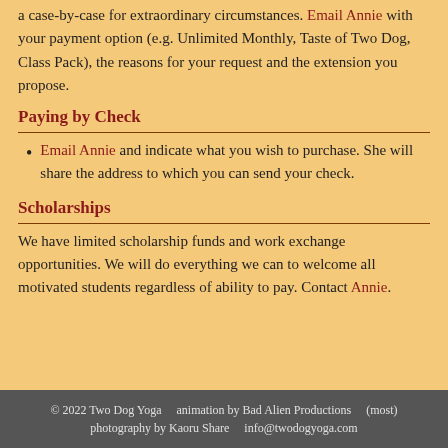a case-by-case for extraordinary circumstances. Email Annie with your payment option (e.g. Unlimited Monthly, Taste of Two Dog, Class Pack), the reasons for your request and the extension you propose.
Paying by Check
Email Annie and indicate what you wish to purchase. She will share the address to which you can send your check.
Scholarships
We have limited scholarship funds and work exchange opportunities. We will do everything we can to welcome all motivated students regardless of ability to pay. Contact Annie.
© 2022 Two Dog Yoga    animation by Bad Alien Productions    (most) photography by Kaoru Share    info@twodogyoga.com